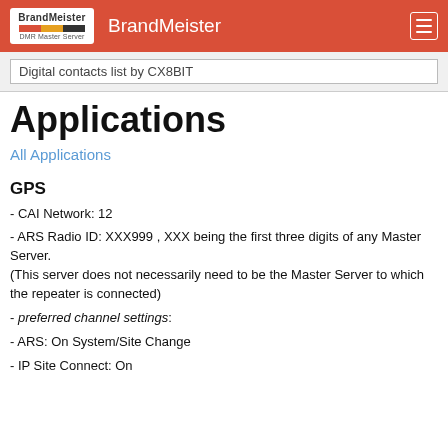BrandMeister
Digital contacts list by CX8BIT
Applications
All Applications
GPS
- CAI Network: 12
- ARS Radio ID: XXX999 , XXX being the first three digits of any Master Server.
(This server does not necessarily need to be the Master Server to which the repeater is connected)
- preferred channel settings:
- ARS: On System/Site Change
- IP Site Connect: On